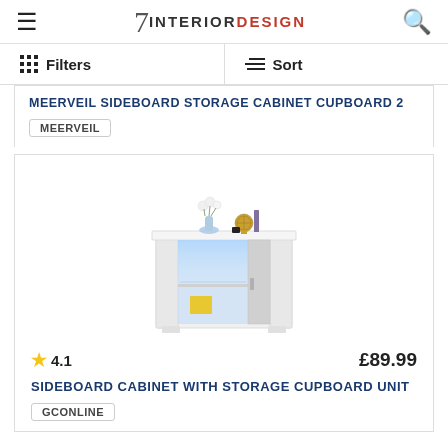7 INTERIOR DESIGN
Filters   Sort
MEERVEIL SIDEBOARD STORAGE CABINET CUPBOARD 2
MEERVEIL
[Figure (photo): White sideboard cabinet with LED lighting, open shelf showing blue light, decorative items on top including a vase with white flowers and a globe ornament]
★4.1   £89.99
SIDEBOARD CABINET WITH STORAGE CUPBOARD UNIT
GCONLINE